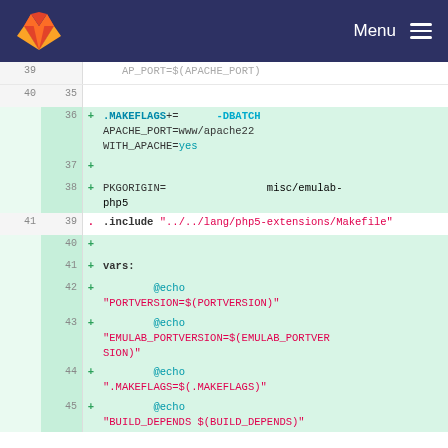GitLab — Menu
[Figure (screenshot): GitLab code diff view showing additions to a Makefile with lines 35-45 visible, including .MAKEFLAGS, PKGORIGIN, .include, vars: target, and @echo commands]
39  . AP_PORT=$(APACHE_PORT)
40  35
36  + .MAKEFLAGS+=      -DBATCH APACHE_PORT=www/apache22 WITH_APACHE=yes
37  +
38  + PKGORIGIN=             misc/emulab-php5
41  39  .include "../../lang/php5-extensions/Makefile"
40  +
41  + vars:
42  +          @echo "PORTVERSION=$(PORTVERSION)"
43  +          @echo "EMULAB_PORTVERSION=$(EMULAB_PORTVERSION)"
44  +          @echo ".MAKEFLAGS=$(.MAKEFLAGS)"
45  +          @echo "BUILD_DEPENDS $(BUILD_DEPENDS)"